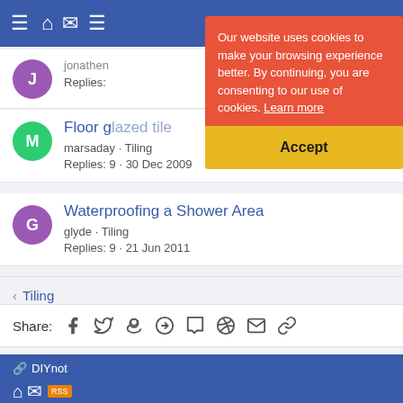DIYnot forum header navigation bar
[Figure (screenshot): Cookie consent banner overlay with orange background and yellow Accept button. Text: Our website uses cookies to make your browsing experience better. By continuing, you are consenting to our use of cookies. Learn more. Accept button in yellow.]
jonathen · [category]
Replies: [number]
Floor g[lazed tile question]
marsaday · Tiling
Replies: 9 · 30 Dec 2009
Waterproofing a Shower Area
glyde · Tiling
Replies: 9 · 21 Jun 2011
Share:
< Tiling
DIYnot  Contact us  Terms and rules  Privacy policy  Help  Home